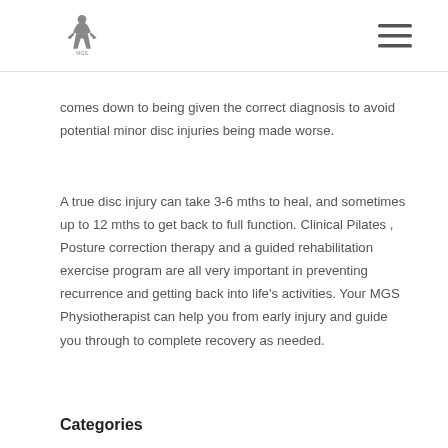MGS logo and navigation
comes down to being given the correct diagnosis to avoid potential minor disc injuries being made worse.
A true disc injury can take 3-6 mths to heal, and sometimes up to 12 mths to get back to full function. Clinical Pilates , Posture correction therapy and a guided rehabilitation exercise program are all very important in preventing recurrence and getting back into life’s activities. Your MGS Physiotherapist can help you from early injury and guide you through to complete recovery as needed.
Categories